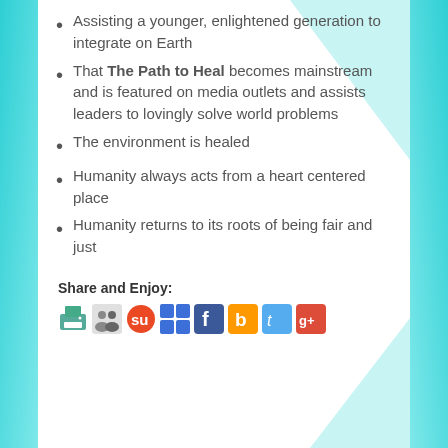Assisting a younger, enlightened generation to integrate on Earth
That The Path to Heal becomes mainstream and is featured on media outlets and assists leaders to lovingly solve world problems
The environment is healed
Humanity always acts from a heart centered place
Humanity returns to its roots of being fair and just
Share and Enjoy:
[Figure (infographic): Row of social sharing icons: print, share, StumbleUpon, Delicious, Facebook, Bitly, Twitter, Google+]